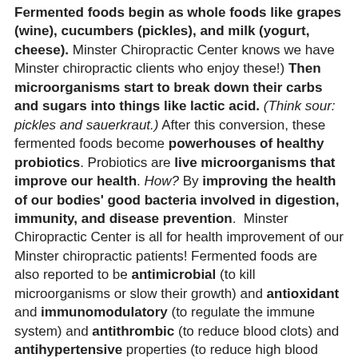Fermented foods begin as whole foods like grapes (wine), cucumbers (pickles), and milk (yogurt, cheese). Minster Chiropractic Center knows we have Minster chiropractic clients who enjoy these!) Then microorganisms start to break down their carbs and sugars into things like lactic acid. (Think sour: pickles and sauerkraut.) After this conversion, these fermented foods become powerhouses of healthy probiotics. Probiotics are live microorganisms that improve our health. How? By improving the health of our bodies' good bacteria involved in digestion, immunity, and disease prevention. Minster Chiropractic Center is all for health improvement of our Minster chiropractic patients! Fermented foods are also reported to be antimicrobial (to kill microorganisms or slow their growth) and antioxidant and immunomodulatory (to regulate the immune system) and antithrombic (to reduce blood clots) and antihypertensive properties (to reduce high blood pressure) and even anti-diabetic. (1) Interestingly, ethnic foods often are fermented foods with benefits like anti-obesity and anti-aging (Korean kimchi) and immune system regulating (Korean Natto) and anti-cancer (Indian dahi) and nutrient/protein/vitamin/beneficial bacteria-rich (Japanese miso).